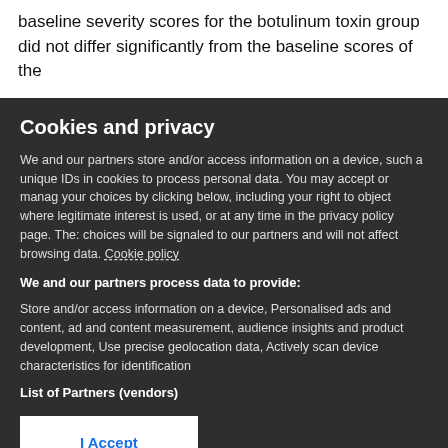baseline severity scores for the botulinum toxin group did not differ significantly from the baseline scores of the
Cookies and privacy
We and our partners store and/or access information on a device, such as unique IDs in cookies to process personal data. You may accept or manage your choices by clicking below, including your right to object where legitimate interest is used, or at any time in the privacy policy page. These choices will be signaled to our partners and will not affect browsing data. Cookie policy
We and our partners process data to provide:
Store and/or access information on a device, Personalised ads and content, ad and content measurement, audience insights and product development, Use precise geolocation data, Actively scan device characteristics for identification
List of Partners (vendors)
I Accept